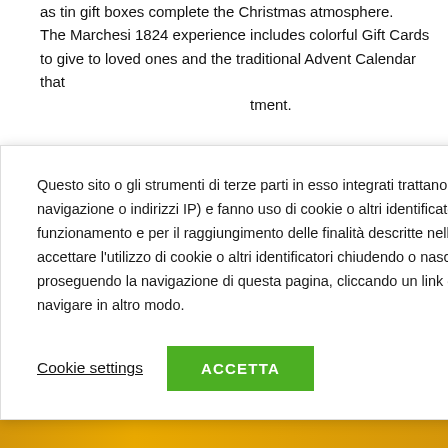as tin gift boxes complete the Christmas atmosphere. The Marchesi 1824 experience includes colorful Gift Cards to give to loved ones and the traditional Advent Calendar that ...tment.
...e three Marchesi a alla Porta 11/a, io Emanuele II – ne city, and at the ayfair – including
Questo sito o gli strumenti di terze parti in esso integrati trattano dati personali (es. dati di navigazione o indirizzi IP) e fanno uso di cookie o altri identificatori necessari per il funzionamento e per il raggiungimento delle finalità descritte nella cookie policy. Dichiari di accettare l'utilizzo di cookie o altri identificatori chiudendo o nascondendo questa informativa, proseguendo la navigazione di questa pagina, cliccando un link o un pulsante o continuando a navigare in altro modo.
Cookie settings  ACCETTA
[Figure (photo): Bottom strip showing yellow/gold background with decorative items, and right side shows white Christmas tree decoration on yellow/gold background]